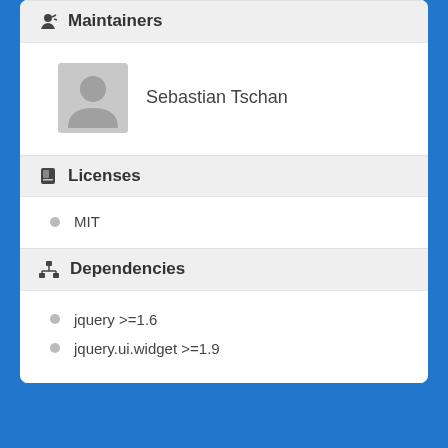Maintainers
Sebastian Tschan
Licenses
MIT
Dependencies
jquery >=1.6
jquery.ui.widget >=1.9